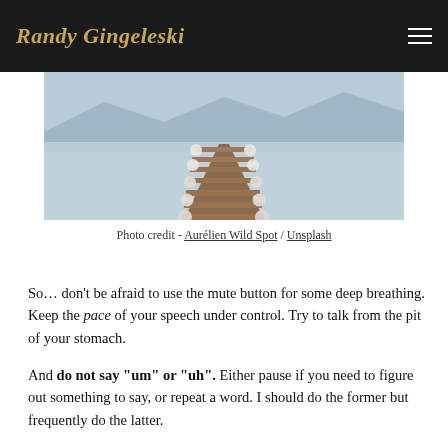Randy Gingeleski
[Figure (photo): A wooden dock extending over a calm lake with misty mountains in the background, decorated with round white objects along the sides.]
Photo credit - Aurélien Wild Spot / Unsplash
So… don't be afraid to use the mute button for some deep breathing. Keep the pace of your speech under control. Try to talk from the pit of your stomach.
And do not say “um” or “uh”. Either pause if you need to figure out something to say, or repeat a word. I should do the former but frequently do the latter.